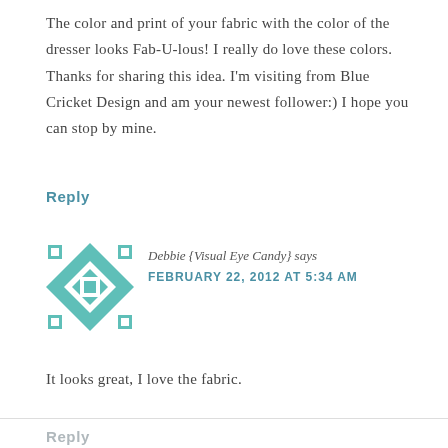The color and print of your fabric with the color of the dresser looks Fab-U-lous! I really do love these colors. Thanks for sharing this idea. I'm visiting from Blue Cricket Design and am your newest follower:) I hope you can stop by mine.
Reply
[Figure (illustration): Teal and white geometric quilt pattern avatar for Debbie {Visual Eye Candy}]
Debbie {Visual Eye Candy} says
FEBRUARY 22, 2012 AT 5:34 AM
It looks great, I love the fabric.
Reply